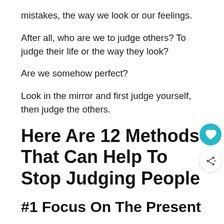mistakes, the way we look or our feelings.
After all, who are we to judge others? To judge their life or the way they look?
Are we somehow perfect?
Look in the mirror and first judge yourself, then judge the others.
Here Are 12 Methods That Can Help To Stop Judging People
#1 Focus On The Present